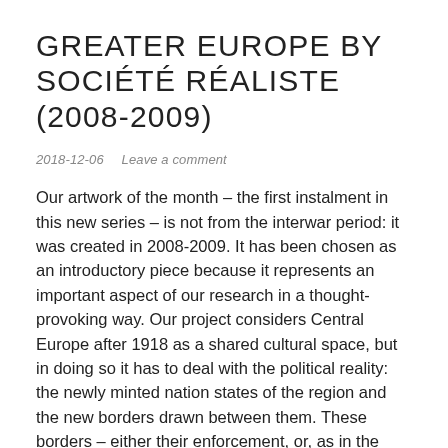GREATER EUROPE BY SOCIÉTÉ RÉALISTE (2008-2009)
2018-12-06   Leave a comment
Our artwork of the month – the first instalment in this new series – is not from the interwar period: it was created in 2008-2009. It has been chosen as an introductory piece because it represents an important aspect of our research in a thought-provoking way. Our project considers Central Europe after 1918 as a shared cultural space, but in doing so it has to deal with the political reality: the newly minted nation states of the region and the new borders drawn between them. These borders – either their enforcement, or, as in the case of Hungary, their fervent contestation – were central to political discourse in all of these countries. The